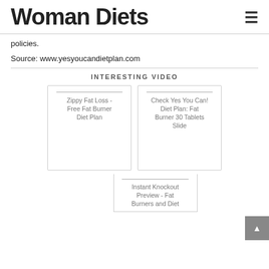Woman Diets
policies.
Source: www.yesyoucandietplan.com
INTERESTING VIDEO
[Figure (other): Video card: Zippy Fat Loss - Free Fat Burner Diet Plan]
[Figure (other): Video card: Check Yes You Can! Diet Plan: Fat Burner 30 Tablets Slide]
[Figure (other): Video card: Instant Knockout Preview - Fat Burners and Diet]